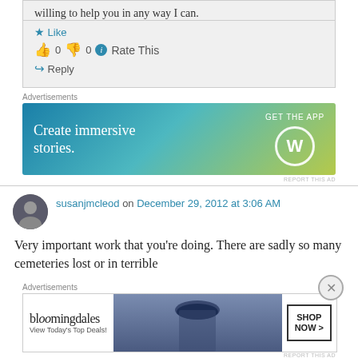willing to help you in any way I can.
Like
👍 0 👎 0 ℹ Rate This
↳ Reply
Advertisements
[Figure (screenshot): WordPress ad banner: 'Create immersive stories. GET THE APP' with WordPress logo]
REPORT THIS AD
susanjmcleod on December 29, 2012 at 3:06 AM
Very important work that you're doing. There are sadly so many cemeteries lost or in terrible
Advertisements
[Figure (screenshot): Bloomingdales ad: 'bloomingdales View Today's Top Deals! SHOP NOW >']